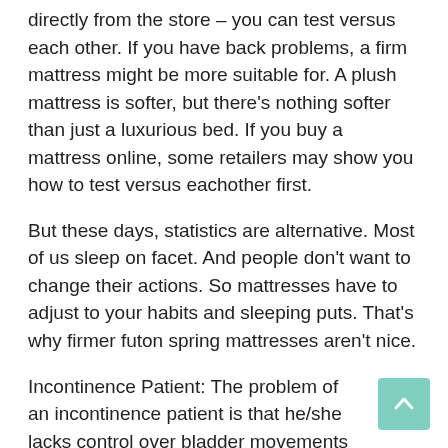directly from the store – you can test versus each other. If you have back problems, a firm mattress might be more suitable for. A plush mattress is softer, but there's nothing softer than just a luxurious bed. If you buy a mattress online, some retailers may show you how to test versus eachother first.
But these days, statistics are alternative. Most of us sleep on facet. And people don't want to change their actions. So mattresses have to adjust to your habits and sleeping puts. That's why firmer futon spring mattresses aren't nice.
Incontinence Patient: The problem of an incontinence patient is that he/she lacks control over bladder movements and can leak along at the mattress. It isn't possible to be able to the mattress regularly. That's a good idea to make use of a mattress pad for an incontinence strong.